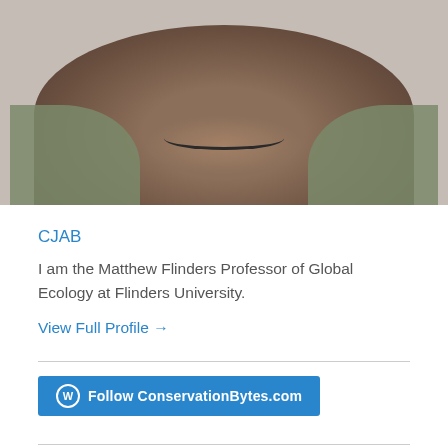[Figure (photo): Cropped photo showing the lower face and beard of a man wearing a green/khaki shirt with a black necklace, against a light background.]
CJAB
I am the Matthew Flinders Professor of Global Ecology at Flinders University.
View Full Profile →
[Figure (other): Follow ConservationBytes.com button with WordPress logo icon]
Stats
2,625,096 views